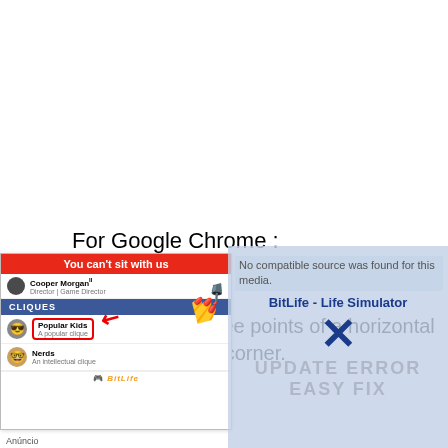For Google Chrome :
Open Chrome.
Click on the three points of a horizontal line in the right corner.
[Figure (screenshot): Advertisement screenshot showing a BitLife game ad with 'You can't sit with us' header in red, a social cliques interface, and a BitLife - Life Simulator overlay with X and 'UPDATE ERROR EASY FIX' text in gray. Also shows 'Anúncio' label at bottom.]